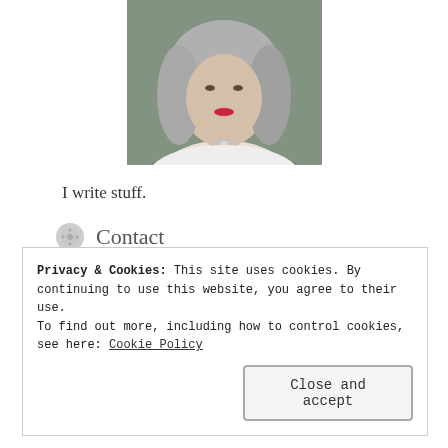[Figure (photo): Portrait photo of a woman with gray hair, red lips, wearing a white top and a necklace with a pendant, background is blurred outdoor scene.]
I write stuff.
Contact
crisplyspoken @ gmail.com
Privacy & Cookies: This site uses cookies. By continuing to use this website, you agree to their use.
To find out more, including how to control cookies, see here: Cookie Policy
Close and accept